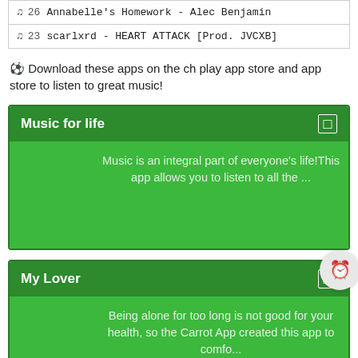♫ 26 Annabelle's Homework - Alec Benjamin
♫ 23 scarlxrd - HEART ATTACK [Prod. JVCXB]
⊕ Download these apps on the ch play app store and app store to listen to great music!
[Figure (screenshot): App card for 'Music for life' with dark green header and green body showing description text: 'Music is an integral part of everyone's life!This app allows you to listen to all the ...']
[Figure (screenshot): App card for 'My Lover' with dark green header and green body showing description text: 'Being alone for too long is not good for your health, so the Carrot App created this app to comfo...' with a circular clock/timer button on the right edge.]